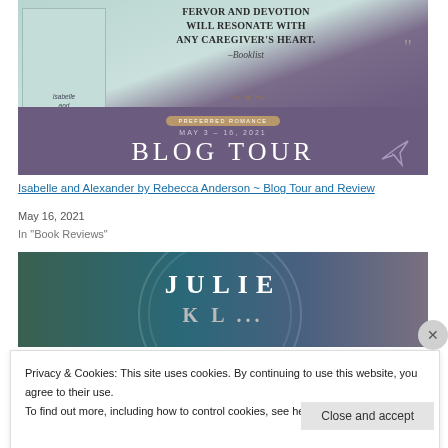[Figure (photo): Book cover of 'Isabelle and Alexander' by Rebecca Anderson on a teal/mint background with a quote from Booklist reading 'FERVOR AND DEVOTION WILL RESONATE WITH ANY CAREGIVER'S HEART.' with an ornamental divider, and a purple Blog Tour banner reading 'PREFERRED ROMANCE / MAY 3 - 16, 2021 / BLOG TOUR' with a quill icon]
Isabelle and Alexander by Rebecca Anderson ~ Blog Tour and Review
May 16, 2021
In "Book Reviews"
[Figure (photo): Partial image showing 'JULIE' text over a dark blue/teal book cover background]
Privacy & Cookies: This site uses cookies. By continuing to use this website, you agree to their use.
To find out more, including how to control cookies, see here: Cookie Policy
Close and accept